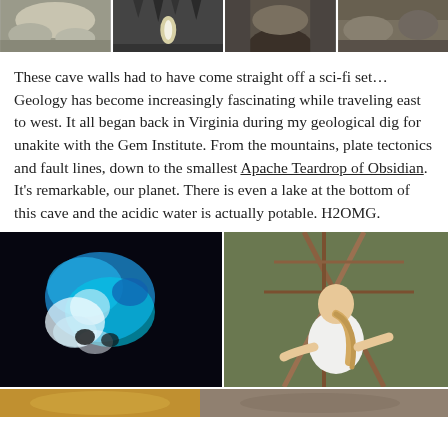[Figure (photo): Row of four cave/stalactite photos at the top of the page]
These cave walls had to have come straight off a sci-fi set… Geology has become increasingly fascinating while traveling east to west. It all began back in Virginia during my geological dig for unakite with the Gem Institute. From the mountains, plate tectonics and fault lines, down to the smallest Apache Teardrop of Obsidian. It's remarkable, our planet. There is even a lake at the bottom of this cave and the acidic water is actually potable. H2OMG.
[Figure (photo): Two side-by-side photos: left shows glowing blue mineral/cave feature on dark background; right shows a blonde girl from behind looking at a wooden structure in a forest setting]
[Figure (photo): Partial strip photo at the bottom, appears to show a cave or rocky terrain]